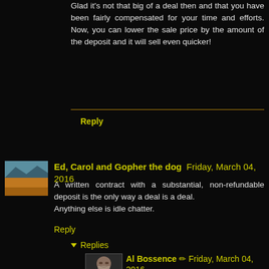Glad it's not that big of a deal then and that you have been fairly compensated for your time and efforts. Now, you can lower the sale price by the amount of the deposit and it will sell even quicker!
Reply
Ed, Carol and Gopher the dog  Friday, March 04, 2016
A written contract with a substantial, non-refundable deposit is the only way a deal is a deal.
Anything else is idle chatter.
Reply
▾  Replies
Al Bossence ✏ Friday, March 04, 2016
No idle chatter here. It was a written contract & the title company called today saying they have the buyers deposit for us.